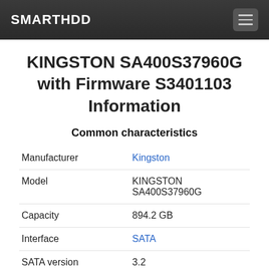SMARTHDD
KINGSTON SA400S37960G with Firmware S3401103 Information
Common characteristics
|  |  |
| --- | --- |
| Manufacturer | Kingston |
| Model | KINGSTON SA400S37960G |
| Capacity | 894.2 GB |
| Interface | SATA |
| SATA version | 3.2 |
| Firmware | S3401103 |
| Alternative firmwares | 5 |